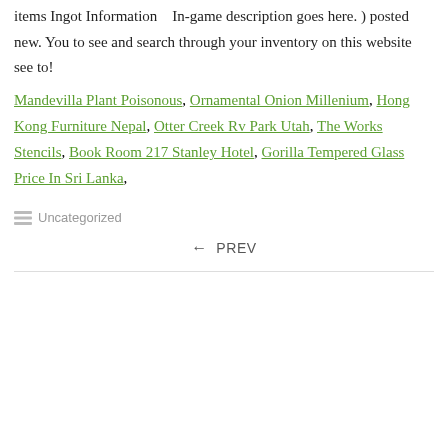items Ingot Information   In-game description goes here. ) posted new. You to see and search through your inventory on this website see to!
Mandevilla Plant Poisonous, Ornamental Onion Millenium, Hong Kong Furniture Nepal, Otter Creek Rv Park Utah, The Works Stencils, Book Room 217 Stanley Hotel, Gorilla Tempered Glass Price In Sri Lanka,
Uncategorized
← PREV